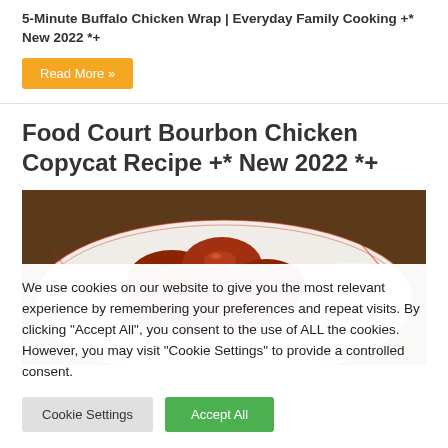5-Minute Buffalo Chicken Wrap | Everyday Family Cooking +* New 2022 *+
Read More »
Food Court Bourbon Chicken Copycat Recipe +* New 2022 *+
[Figure (photo): A plate of bourbon chicken pieces with glaze served over white rice, with a decorative red-patterned plate visible in the background.]
We use cookies on our website to give you the most relevant experience by remembering your preferences and repeat visits. By clicking "Accept All", you consent to the use of ALL the cookies. However, you may visit "Cookie Settings" to provide a controlled consent.
Cookie Settings
Accept All